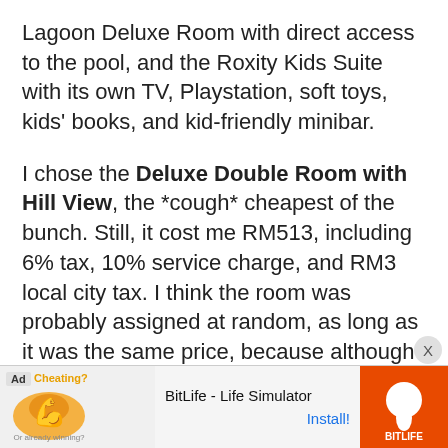Lagoon Deluxe Room with direct access to the pool, and the Roxity Kids Suite with its own TV, Playstation, soft toys, kids' books, and kid-friendly minibar.
I chose the Deluxe Double Room with Hill View, the *cough* cheapest of the bunch. Still, it cost me RM513, including 6% tax, 10% service charge, and RM3 local city tax. I think the room was probably assigned at random, as long as it was the same price, because although I booked the hill-view room, I ended up with a pool view. Or maybe it was an upgrade, who knows.
[Figure (other): Mobile advertisement banner for BitLife - Life Simulator app. Shows 'Ad' label, 'Cheating?' text, arm emoji graphic, BitLife logo on red background, app name 'BitLife - Life Simulator', and 'Install!' call to action button.]